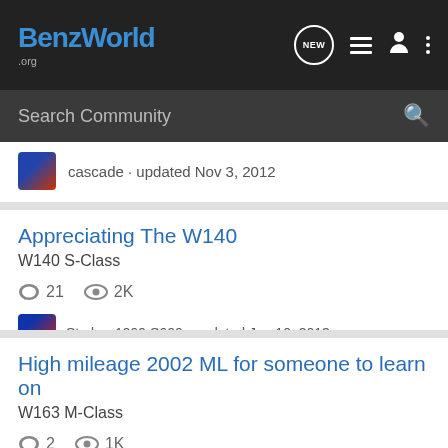BenzWorld .org
Search Community
cascade · updated Nov 3, 2012
Appreciating The W140
W140 S-Class
21   2K
Stryker-1999 S600 · updated Jan 10, 2013
High mileage 2002 ML for someone to learn on
W163 M-Class
2   1K
Benzownersarebetter · updated Jan 14, 2015